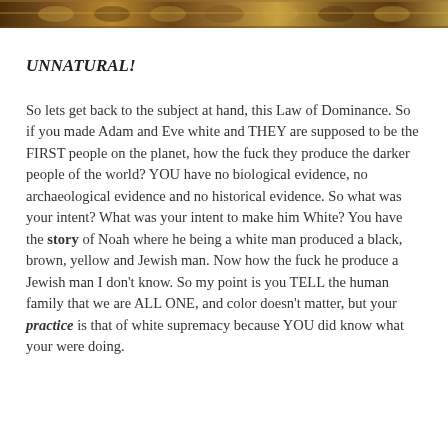[Figure (illustration): Ornamental decorative bar with gold and brown patterns at the top of the page]
UNNATURAL!
So lets get back to the subject at hand, this Law of Dominance. So if you made Adam and Eve white and THEY are supposed to be the FIRST people on the planet, how the fuck they produce the darker people of the world? YOU have no biological evidence, no archaeological evidence and no historical evidence. So what was your intent? What was your intent to make him White? You have the story of Noah where he being a white man produced a black, brown, yellow and Jewish man. Now how the fuck he produce a Jewish man I don't know. So my point is you TELL the human family that we are ALL ONE, and color doesn't matter, but your practice is that of white supremacy because YOU did know what your were doing.